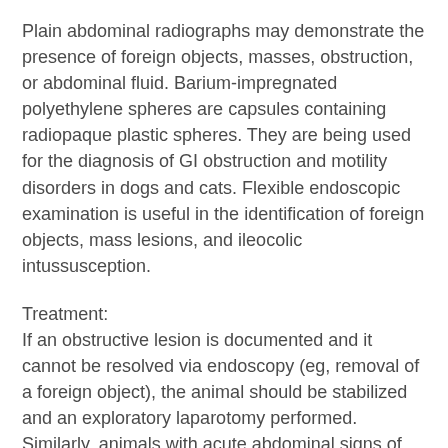Plain abdominal radiographs may demonstrate the presence of foreign objects, masses, obstruction, or abdominal fluid. Barium-impregnated polyethylene spheres are capsules containing radiopaque plastic spheres. They are being used for the diagnosis of GI obstruction and motility disorders in dogs and cats. Flexible endoscopic examination is useful in the identification of foreign objects, mass lesions, and ileocolic intussusception.
Treatment:
If an obstructive lesion is documented and it cannot be resolved via endoscopy (eg, removal of a foreign object), the animal should be stabilized and an exploratory laparotomy performed. Similarly, animals with acute abdominal signs of unknown etiology, and those that continue to deteriorate clinically, should also have an exploratory laparotomy.
http://www.merckvetmanual.com/mvm/index.jsp?cfile=htm/bc/23308.htm
Thank you for visiting my blog.